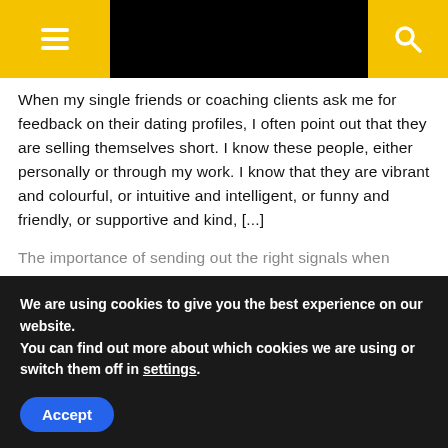≡ [menu icon] [search icon]
When my single friends or coaching clients ask me for feedback on their dating profiles, I often point out that they are selling themselves short. I know these people, either personally or through my work. I know that they are vibrant and colourful, or intuitive and intelligent, or funny and friendly, or supportive and kind, [...]
The importance of sending out the right signals when dating August 12, 2022
One of the things that frustrates people when dating is
We are using cookies to give you the best experience on our website.
You can find out more about which cookies we are using or switch them off in settings.
Accept